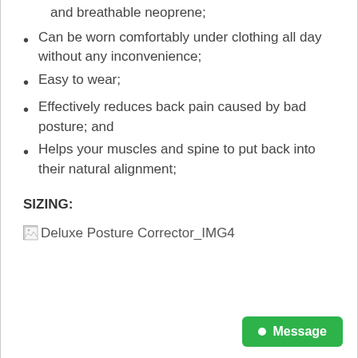and breathable neoprene;
Can be worn comfortably under clothing all day without any inconvenience;
Easy to wear;
Effectively reduces back pain caused by bad posture; and
Helps your muscles and spine to put back into their natural alignment;
SIZING:
[Figure (photo): Broken image placeholder for Deluxe Posture Corrector_IMG4]
Message